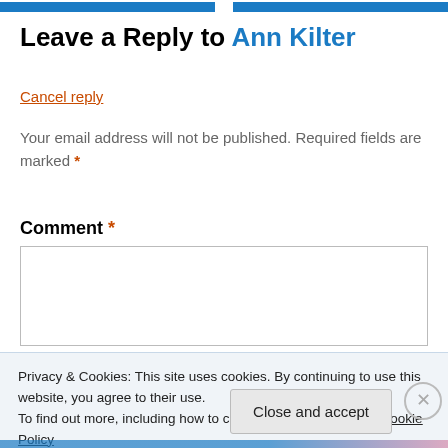Leave a Reply to Ann Kilter
Cancel reply
Your email address will not be published. Required fields are marked *
Comment *
Privacy & Cookies: This site uses cookies. By continuing to use this website, you agree to their use. To find out more, including how to control cookies, see here: Cookie Policy
Close and accept